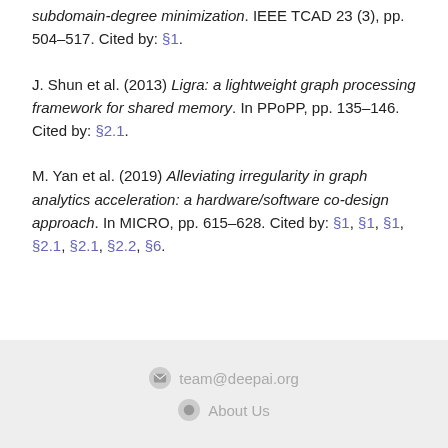subdomain-degree minimization. IEEE TCAD 23 (3), pp. 504–517. Cited by: §1.
J. Shun et al. (2013) Ligra: a lightweight graph processing framework for shared memory. In PPoPP, pp. 135–146. Cited by: §2.1.
M. Yan et al. (2019) Alleviating irregularity in graph analytics acceleration: a hardware/software co-design approach. In MICRO, pp. 615–628. Cited by: §1, §1, §1, §2.1, §2.1, §2.2, §6.
team@deepai.org  About Us